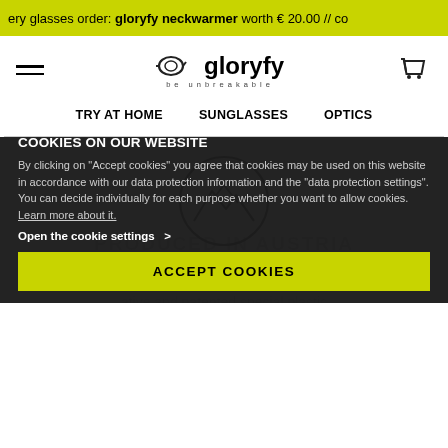ery glasses order: gloryfy neckwarmer worth € 20.00 // co
[Figure (logo): gloryfy logo with goggles icon and 'be unbreakable' tagline]
TRY AT HOME   SUNGLASSES   OPTICS
[Figure (illustration): Mountain circle icon — outline circle with mountain peaks inside]
PRODUCED IN AUSTRIA
gloryfy unbreakable eyewear – unbreakable glasses
ative and patented special plastic
COOKIES ON OUR WEBSITE
By clicking on "Accept cookies" you agree that cookies may be used on this website in accordance with our data protection information and the "data protection settings". You can decide individually for each purpose whether you want to allow cookies. Learn more about it.
Open the cookie settings   >
ACCEPT COOKIES